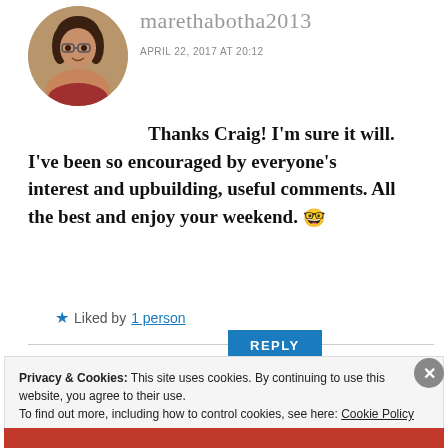[Figure (photo): Circular avatar photo of a woman with glasses and dark hair, smiling]
marethabotha2013
APRIL 22, 2017 AT 20:12
Thanks Craig! I'm sure it will. I've been so encouraged by everyone's interest and upbuilding, useful comments. All the best and enjoy your weekend. 🤓
Liked by 1 person
REPLY
Privacy & Cookies: This site uses cookies. By continuing to use this website, you agree to their use.
To find out more, including how to control cookies, see here: Cookie Policy
Close and accept